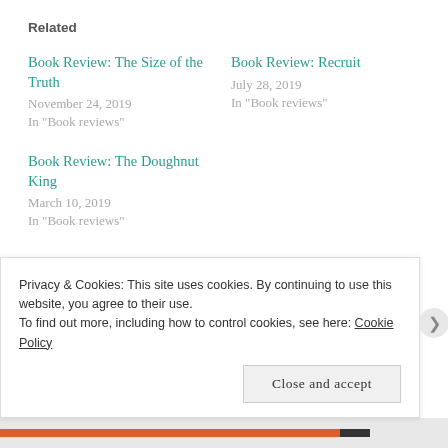Related
Book Review: The Size of the Truth
November 24, 2019
In "Book reviews"
Book Review: Recruit
July 28, 2019
In "Book reviews"
Book Review: The Doughnut King
March 10, 2019
In "Book reviews"
POSTED IN BOOK REVIEWS, MIDDLE GRADE NOVEL, RAISING READERS, READING
BOOK REVIEW  DYSTOPIAN
Privacy & Cookies: This site uses cookies. By continuing to use this website, you agree to their use.
To find out more, including how to control cookies, see here: Cookie Policy
Close and accept